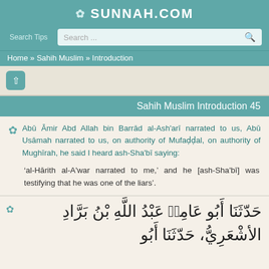SUNNAH.COM
Search Tips  Search ...
Home » Sahih Muslim » Introduction
[Figure (other): Up navigation button (arrow pointing up)]
Sahih Muslim Introduction 45
Abū Āmir Abd Allah bin Barrād al-Ash'arī narrated to us, Abū Usāmah narrated to us, on authority of Mufaḍḍal, on authority of Mughīrah, he said I heard ash-Sha'bī saying:
'al-Hārith al-A'war narrated to me,' and he [ash-Sha'bī] was testifying that he was one of the liars'.
حَدَّثَنَا أَبُو عَامِرٍ عَبْدُ اللَّهِ بْنُ بَرَّادٍ الأَشْعَرِيُّ، حَدَّثَنَا أَبُو